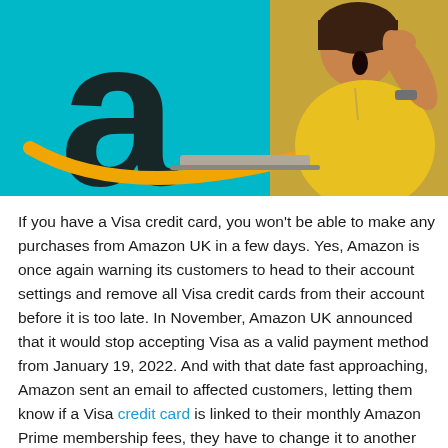[Figure (photo): Amazon logo (large dark 'a' with orange arrow swoosh) on a teal/cyan background, overlaid with a woman in a yellow hoodie looking shocked at a laptop, holding her hand to her head.]
If you have a Visa credit card, you won't be able to make any purchases from Amazon UK in a few days. Yes, Amazon is once again warning its customers to head to their account settings and remove all Visa credit cards from their account before it is too late. In November, Amazon UK announced that it would stop accepting Visa as a valid payment method from January 19, 2022. And with that date fast approaching, Amazon sent an email to affected customers, letting them know if a Visa credit card is linked to their monthly Amazon Prime membership fees, they have to change it to another